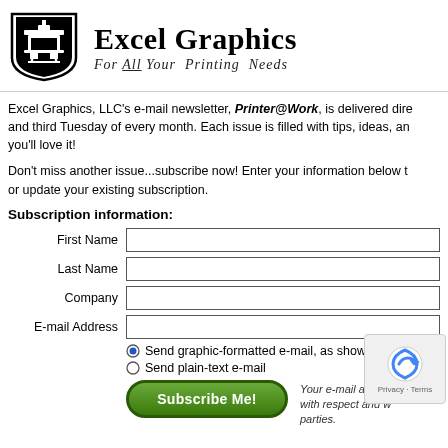[Figure (logo): Excel Graphics logo: black and white shield/crest shape with a printing press illustration inside]
Excel Graphics
For All Your Printing Needs
Excel Graphics, LLC's e-mail newsletter, Printer@Work, is delivered directly to your inbox on the first and third Tuesday of every month. Each issue is filled with tips, ideas, and vital information you'll love it!
Don't miss another issue...subscribe now! Enter your information below to start your subscription or update your existing subscription.
Subscription information:
First Name
Last Name
Company
E-mail Address
Send graphic-formatted e-mail, as shown below...
Send plain-text e-mail
Subscribe Me!
Your e-mail address will be handled with respect and will not be shared with third parties.